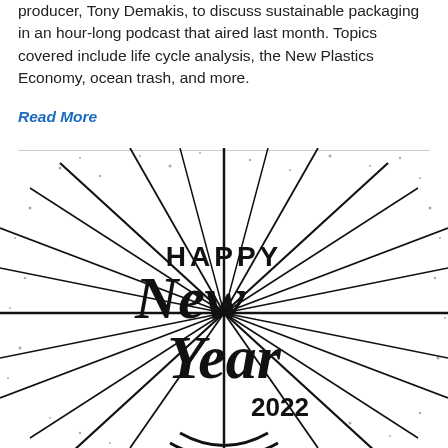producer, Tony Demakis, to discuss sustainable packaging in an hour-long podcast that aired last month. Topics covered include life cycle analysis, the New Plastics Economy, ocean trash, and more.
Read More
[Figure (illustration): Black and white illustration with radiating sunburst lines and dots. Bold hand-lettered text reads 'HAPPY New Year 2022' in the center.]